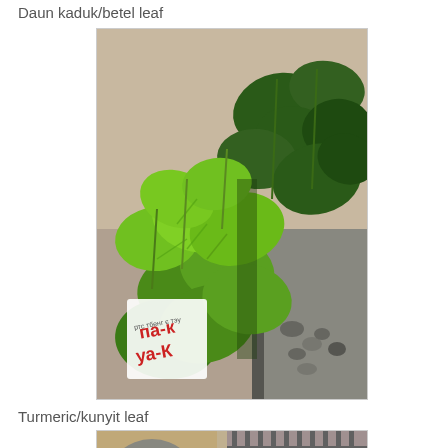Daun kaduk/betel leaf
[Figure (photo): Photo of betel leaf (daun kaduk) plant showing green heart-shaped leaves growing on vines, with a small label or tag visible in the lower left corner of the image showing red text 'va-K']
Turmeric/kunyit leaf
[Figure (photo): Partial photo of turmeric/kunyit leaf, cropped at bottom of page]